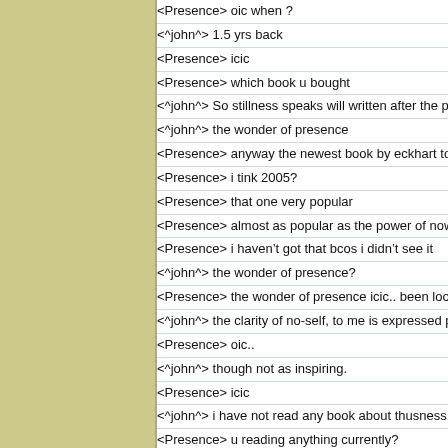<Presence> oic when ?
<^john^> 1.5 yrs back
<Presence> icic
<Presence> which book u bought
<^john^> So stillness speaks will written after the power of now?
<^john^> the wonder of presence
<Presence> anyway the newest book by eckhart tolle is i tink A N
<Presence> i tink 2005?
<Presence> that one very popular
<Presence> almost as popular as the power of now
<Presence> i haven’t got that bcos i didn’t see it
<^john^> the wonder of presence?
<Presence> the wonder of presence icic.. been looking for that..
<^john^> the clarity of no-self, to me is expressed pretty well by
<Presence> oic..
<^john^> though not as inspiring.
<Presence> icic
<^john^> i have not read any book about thusness. :)
<Presence> u reading anything currently?
<Presence> isit?
<Presence> how come
<Presence> u write lor
<Presence> hehehe